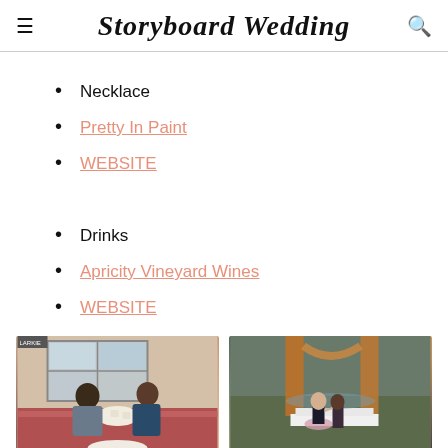Storyboard Wedding
Necklace
Pretty In Paint
WEBSITE
Drinks
Apricity Vineyard Wines
WEBSITE
[Figure (photo): Two people sitting in a diner/cafe booth, smiling and having coffee, with a storefront window visible behind them]
[Figure (photo): Couple dancing outdoors at a wedding venue with orange/rust colored draping in the background]